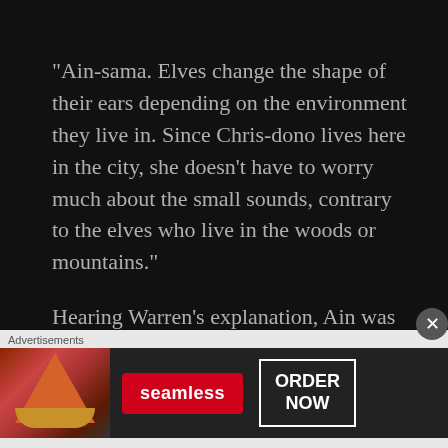“Ain-sama. Elves change the shape of their ears depending on the environment they live in. Since Chris-dono lives here in the city, she doesn’t have to worry much about the small sounds, contrary to the elves who live in the woods or mountains.”
Hearing Warren’s explanation, Ain was
[Figure (infographic): Advertisement banner for Seamless food delivery. Shows pizza slices image on left, Seamless logo in red, and ORDER NOW button with white border on dark background.]
Advertisements